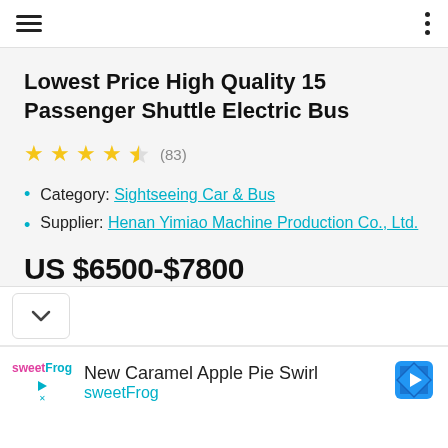Navigation header with hamburger menu and options dots
Lowest Price High Quality 15 Passenger Shuttle Electric Bus
★★★★☆ (83)
Category: Sightseeing Car & Bus
Supplier: Henan Yimiao Machine Production Co., Ltd.
US $6500-$7800
New Caramel Apple Pie Swirl sweetFrog